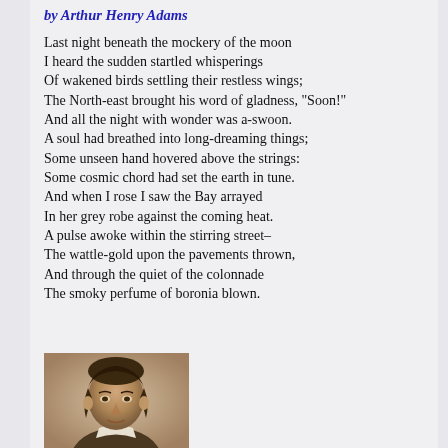by Arthur Henry Adams
Last night beneath the mockery of the moon
I heard the sudden startled whisperings
Of wakened birds settling their restless wings;
The North-east brought his word of gladness, "Soon!"
And all the night with wonder was a-swoon.
A soul had breathed into long-dreaming things;
Some unseen hand hovered above the strings:
Some cosmic chord had set the earth in tune.
And when I rose I saw the Bay arrayed
In her grey robe against the coming heat.
A pulse awoke within the stirring street–
The wattle-gold upon the pavements thrown,
And through the quiet of the colonnade
The smoky perfume of boronia blown.
[Figure (photo): Sepia-toned portrait photograph of Arthur Henry Adams, a young man with dark hair, facing slightly to the side.]